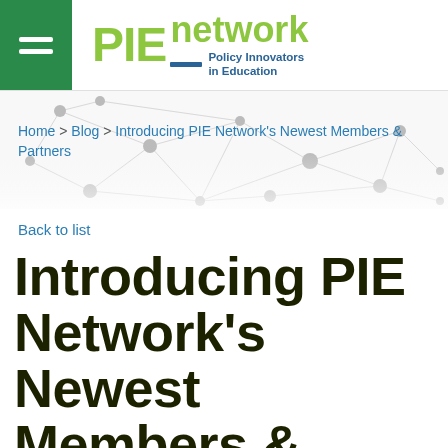PIE network – Policy Innovators in Education
[Figure (illustration): Network graph background image with grey nodes and connecting lines on white/light grey background]
Home > Blog > Introducing PIE Network's Newest Members & Partners
Back to list
Introducing PIE Network's Newest Members & Partners